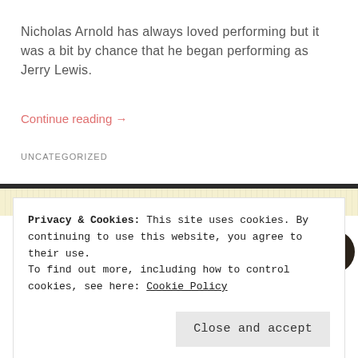Nicholas Arnold has always loved performing but it was a bit by chance that he began performing as Jerry Lewis.
Continue reading →
UNCATEGORIZED
Episode 63: Sofonda Blackmen
Privacy & Cookies: This site uses cookies. By continuing to use this website, you agree to their use.
To find out more, including how to control cookies, see here: Cookie Policy
Close and accept